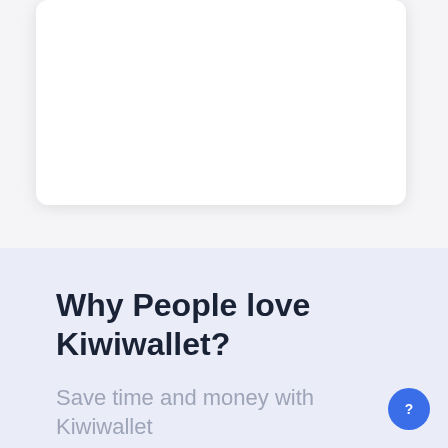[Figure (screenshot): White card/panel with rounded corners and drop shadow on a light gray background, representing a UI card component (content area appears blank/white).]
Why People love Kiwiwallet?
Save time and money with Kiwiwallet